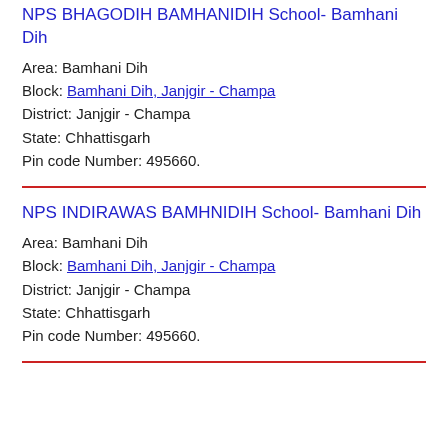NPS BHAGODIH BAMHANIDIH School- Bamhani Dih
Area: Bamhani Dih
Block: Bamhani Dih, Janjgir - Champa
District: Janjgir - Champa
State: Chhattisgarh
Pin code Number: 495660.
NPS INDIRAWAS BAMHNIDIH School- Bamhani Dih
Area: Bamhani Dih
Block: Bamhani Dih, Janjgir - Champa
District: Janjgir - Champa
State: Chhattisgarh
Pin code Number: 495660.